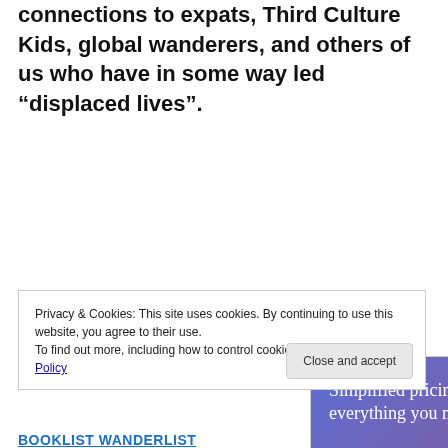connections to expats, Third Culture Kids, global wanderers, and others of us who have in some way led “displaced lives”.
[Figure (infographic): Advertisement banner with gradient blue-purple background reading 'Simplified pricing for everything you need.' with a pink 'Build Your Website' button and a tan price tag graphic on the right.]
Privacy & Cookies: This site uses cookies. By continuing to use this website, you agree to their use.
To find out more, including how to control cookies, see here: Cookie Policy
Close and accept
BOOKLIST WANDERLIST